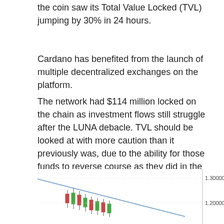the coin saw its Total Value Locked (TVL) jumping by 30% in 24 hours.
Cardano has benefited from the launch of multiple decentralized exchanges on the platform.
The network had $114 million locked on the chain as investment flows still struggle after the LUNA debacle. TVL should be looked at with more caution than it previously was, due to the ability for those funds to reverse course as they did in the case of Terra.
Cardano's TVL was only $3 million in February but rose to a high of $326 million by April. That is a sign that investors are positive about the development changes that are happening with the project.
[Figure (continuous-plot): Partial candlestick/line chart showing a downward trending line with candlestick bars, y-axis labels showing 1.300000 and 1.200000, chart is cut off at the bottom of the page.]